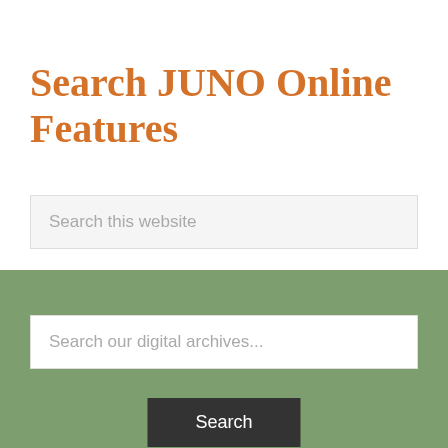Search JUNO Online Features
Search this website
Search our digital archives...
Search